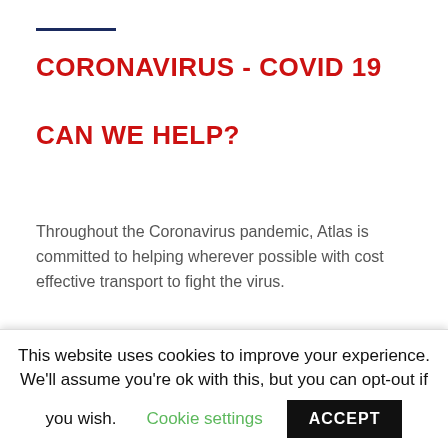CORONAVIRUS - COVID 19
CAN WE HELP?
Throughout the Coronavirus pandemic, Atlas is committed to helping wherever possible with cost effective transport to fight the virus.
Please contact us if you have any requirement for
This website uses cookies to improve your experience. We'll assume you're ok with this, but you can opt-out if you wish. Cookie settings ACCEPT